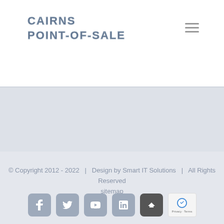CAIRNS POINT-OF-SALE
[Figure (logo): Cairns Point-Of-Sale logo text in bold uppercase with blue-gray color]
[Figure (illustration): Hamburger menu icon (three horizontal lines) in gray]
[Figure (illustration): Light gray banner/hero section]
© Copyright 2012 - 2022   |   Design by Smart IT Solutions   |   All Rights Reserved
sitemap
[Figure (illustration): Social media icons row: Facebook (f), Twitter (bird), YouTube (play), LinkedIn (in); back-to-top arrow button; reCAPTCHA badge with Privacy - Terms text]